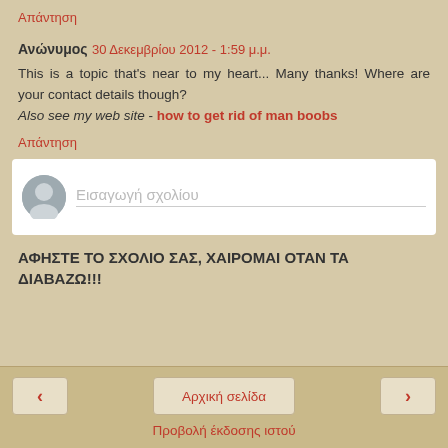Απάντηση
Ανώνυμος 30 Δεκεμβρίου 2012 - 1:59 μ.μ.
This is a topic that's near to my heart... Many thanks! Where are your contact details though?
Also see my web site - how to get rid of man boobs
Απάντηση
Εισαγωγή σχολίου
ΑΦΗΣΤΕ ΤΟ ΣΧΟΛΙΟ ΣΑΣ, ΧΑΙΡΟΜΑΙ ΟΤΑΝ ΤΑ ΔΙΑΒΑΖΩ!!!
‹
Αρχική σελίδα
›
Προβολή έκδοσης ιστού